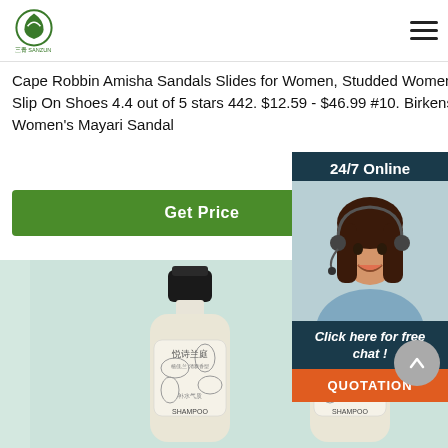Sanzun logo and hamburger menu
Cape Robbin Amisha Sandals Slides for Women, Studded Womens Mules Slip On Shoes 4.4 out of 5 stars 442. $12.59 - $46.99 #10. Birkenstock Women's Mayari Sandal
Get Price
[Figure (photo): Two bottles of 悦诗兰庭 shampoo product on a green-tinted background]
24/7 Online
[Figure (photo): Customer service agent woman with headset smiling]
Click here for free chat !
QUOTATION